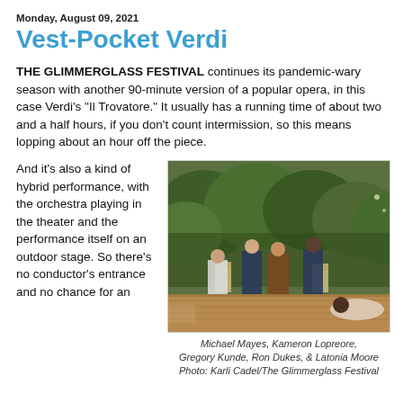Monday, August 09, 2021
Vest-Pocket Verdi
THE GLIMMERGLASS FESTIVAL continues its pandemic-wary season with another 90-minute version of a popular opera, in this case Verdi’s “Il Trovatore.” It usually has a running time of about two and a half hours, if you don't count intermission, so this means lopping about an hour off the piece.
And it’s also a kind of hybrid performance, with the orchestra playing in the theater and the performance itself on an outdoor stage. So there’s no conductor’s entrance and no chance for an
[Figure (photo): Stage performance photo showing five performers on an outdoor wooden stage. Michael Mayes, Kameron Lopreore, Gregory Kunde, Ron Dukes, and Latonia Moore are shown in a dramatic scene with a green leafy backdrop.]
Michael Mayes, Kameron Lopreore, Gregory Kunde, Ron Dukes, & Latonia Moore
Photo: Karli Cadel/The Glimmerglass Festival